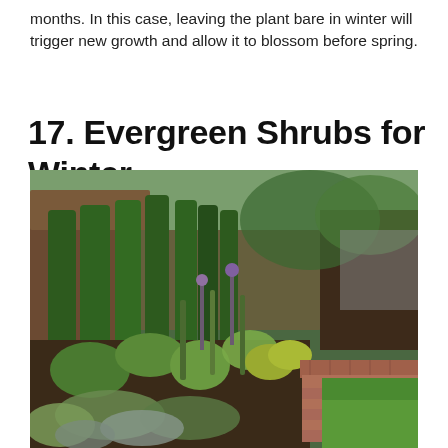months. In this case, leaving the plant bare in winter will trigger new growth and allow it to blossom before spring.
17. Evergreen Shrubs for Winter
[Figure (photo): A garden border along a wooden fence line featuring tall, narrow evergreen arborvitae trees alongside a colorful mixed perennial bed with brick edging, next to a green lawn.]